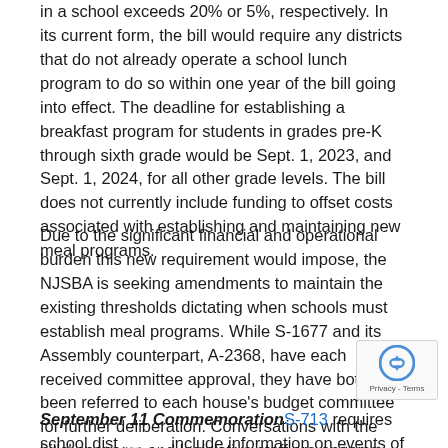in a school exceeds 20% or 5%, respectively. In its current form, the bill would require any districts that do not already operate a school lunch program to do so within one year of the bill going into effect. The deadline for establishing a breakfast program for students in grades pre-K through sixth grade would be Sept. 1, 2023, and Sept. 1, 2024, for all other grade levels. The bill does not currently include funding to offset costs associated with establishing and maintaining new meal programs.
Due to the significant financial and operational burden this new requirement would impose, the NJSBA is seeking amendments to maintain the existing thresholds dictating when schools must establish meal programs. While S-1677 and its Assembly counterpart, A-2368, have each received committee approval, they have both been referred to each house's budget committee for further deliberation. Conversations with the bills' sponsors and legislative staff are ongoing and will continue to ensure the Association's concerns are addressed moving forward.
September 11 Commemoration S-713 requires school districts to include information on events of Sept. 11, 2001, as part of New